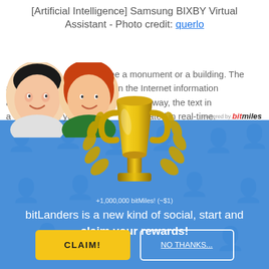[Artificial Intelligence] Samsung BIXBY Virtual Assistant - Photo credit: querlo
r example, it may be a monument or a building. The a nt y to instantly find on the Internet information a the ographed object. And in this way, the text in a lguage that you do m is translated in real-time.
[Figure (illustration): Two cartoon avatar figures (man and woman) overlaying the article text]
[Figure (illustration): Gold trophy cup with laurel branches. Label below: +1,000,000 bitMiles! (~$1)]
+1,000,000 bitMiles! (~$1)
bitLanders is a new kind of social, start and claim your rewards!
CLAIM!
NO THANKS...